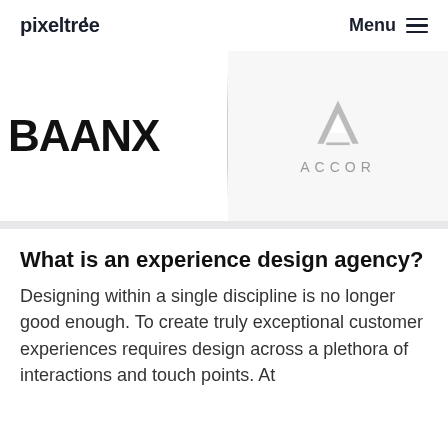pixeltree | Menu
[Figure (logo): BAANX logo in large bold black text on white background, left panel]
[Figure (logo): Accor logo with stylized A icon and wordmark ACCOR in grey on light grey background, right panel]
What is an experience design agency?
Designing within a single discipline is no longer good enough. To create truly exceptional customer experiences requires design across a plethora of interactions and touch points. At